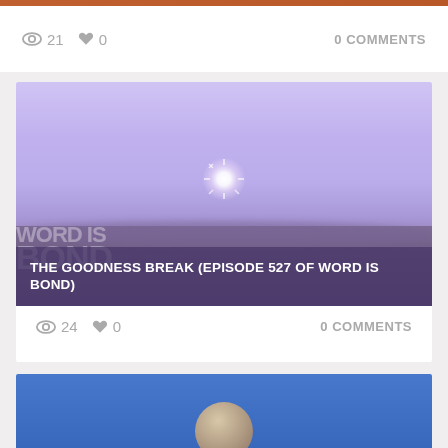21  0  0 COMMENTS
[Figure (screenshot): Video thumbnail showing a purple/violet hazy landscape with a bright sun on the horizon and text overlay reading THE GOODNESS BREAK (EPISODE 527 OF WORD IS BOND)]
THE GOODNESS BREAK (EPISODE 527 OF WORD IS BOND)
24  0  0 COMMENTS
[Figure (photo): Bottom card with blue background, partially visible circular profile image]